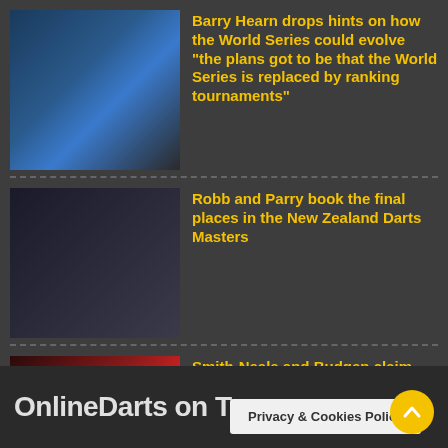Barry Hearn drops hints on how the World Series could evolve “the plans got to be that the World Series is replaced by ranking tournaments”
Robb and Parry book the final places in the New Zealand Darts Masters
Smith-Neale and Budgen claim ADC Championship Tour 5 & 6 Titles
OnlineDarts on T
Privacy & Cookies Policy